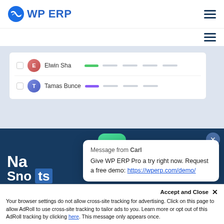WP ERP
[Figure (screenshot): WP ERP application screenshot showing employee list rows with avatars for Elwin Sha (green status badge) and Tamas Bunce (purple status badge), with placeholder gray line fields]
[Figure (screenshot): Dark blue section with green rounded share icon button, and partially visible heading text 'Na...' and 'Sno...ts' with a blue highlight bar]
Message from Carl
Give WP ERP Pro a try right now. Request a free demo: https://wperp.com/demo/
Accept and Close ✕
Your browser settings do not allow cross-site tracking for advertising. Click on this page to allow AdRoll to use cross-site tracking to tailor ads to you. Learn more or opt out of this AdRoll tracking by clicking here. This message only appears once.